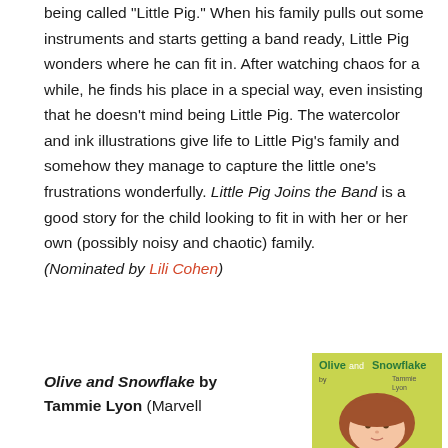being called "Little Pig." When his family pulls out some instruments and starts getting a band ready, Little Pig wonders where he can fit in. After watching chaos for a while, he finds his place in a special way, even insisting that he doesn't mind being Little Pig. The watercolor and ink illustrations give life to Little Pig's family and somehow they manage to capture the little one's frustrations wonderfully. Little Pig Joins the Band is a good story for the child looking to fit in with her or her own (possibly noisy and chaotic) family. (Nominated by Lili Cohen)
Olive and Snowflake by Tammie Lyon (Marvell
[Figure (illustration): Book cover of 'Olive and Snowflake' by Tammie Lyon, showing a yellow-green background with the title in green text and an illustration of a child's face with brown hair]